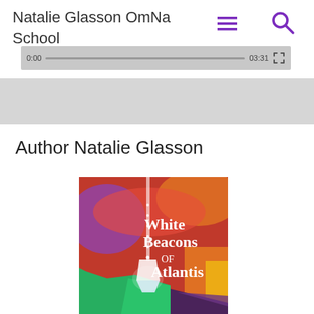Natalie Glasson OmNa School
[Figure (screenshot): Website header with site title 'Natalie Glasson OmNa School', hamburger menu icon, search icon, and a video player progress bar showing time 0:00 and 03:31]
Author Natalie Glasson
[Figure (photo): Book cover of 'White Beacons of Atlantis' showing a colorful painting with red/orange sky, green cliffs, a glowing white crystal or structure hanging from above, and the book title in white serif text]